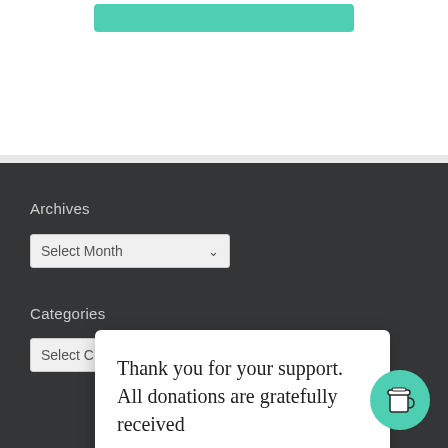[Figure (screenshot): Green button at top of page (partially visible)]
Archives
[Figure (screenshot): Select Month dropdown widget]
Categories
[Figure (screenshot): Select Category dropdown widget (partially visible)]
Thank you for your support. All donations are gratefully received
[Figure (illustration): Coffee cup icon in teal circle (Buy Me a Coffee widget button)]